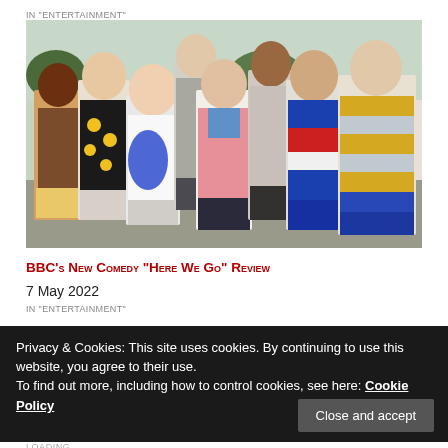IN "ENTERTAINMENT"
[Figure (photo): Group photo of the cast of BBC's 'Here We Go' comedy series — eight people standing together outdoors in front of a house, smiling. They are dressed in colorful outfits including a sunflower-print top, a blue and white abstract print sweater, a pink cardigan, and a blue and yellow striped top.]
BBC's New Comedy "Here We Go" Review
7 May 2022
IN "ENTERTAINMENT"
Privacy & Cookies: This site uses cookies. By continuing to use this website, you agree to their use.
To find out more, including how to control cookies, see here: Cookie Policy
Close and accept
LOADING...